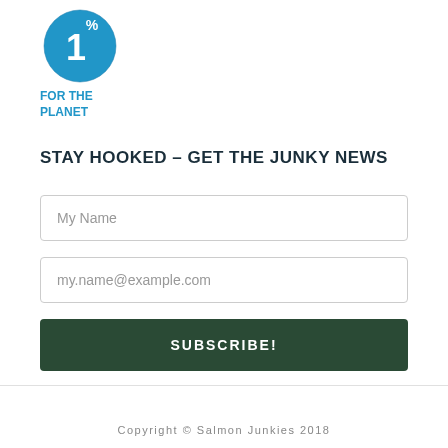[Figure (logo): 1% For The Planet circular logo in blue and white, with text FOR THE PLANET in blue below]
STAY HOOKED – GET THE JUNKY NEWS
My Name (input placeholder)
my.name@example.com (input placeholder)
SUBSCRIBE! (button)
Copyright © Salmon Junkies 2018